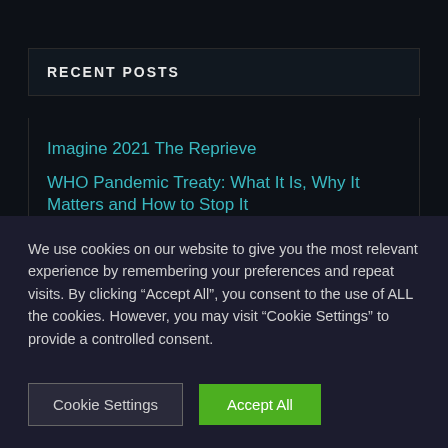RECENT POSTS
Imagine 2021 The Reprieve
WHO Pandemic Treaty: What It Is, Why It Matters and How to Stop It
The Real Power Lies in Westminster not Rome
STATE OF THE UNION – THEN AND NOW
The Psychology And History Of Manipulation: 6 Lessons From
We use cookies on our website to give you the most relevant experience by remembering your preferences and repeat visits. By clicking "Accept All", you consent to the use of ALL the cookies. However, you may visit "Cookie Settings" to provide a controlled consent.
Cookie Settings | Accept All